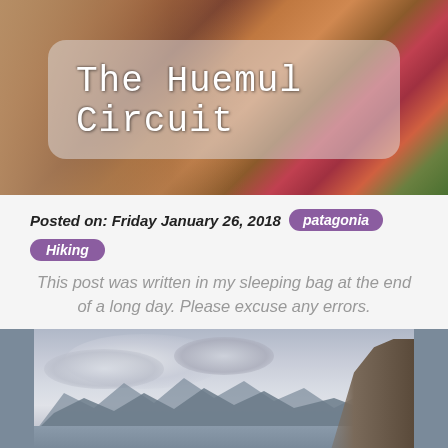[Figure (photo): Hero image of mountain landscape with autumn foliage in red and orange, with a translucent title overlay box]
The Huemul Circuit
Posted on: Friday January 26, 2018  patagonia  Hiking
This post was written in my sleeping bag at the end of a long day. Please excuse any errors.
[Figure (photo): Photograph of a glacial lake with floating ice chunks, mountains in background under overcast sky, rocky cliff on right side]